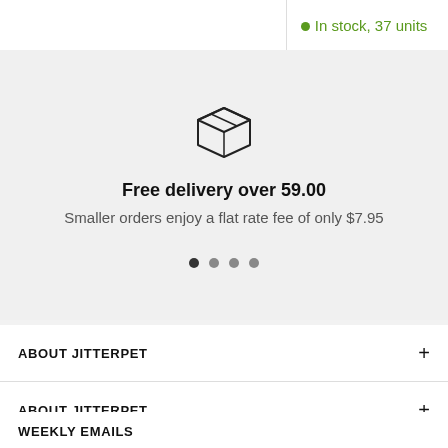In stock, 37 units
[Figure (illustration): Line-art icon of a shipping box (cube with diagonal lines on top face)]
Free delivery over 59.00
Smaller orders enjoy a flat rate fee of only $7.95
ABOUT JITTERPET
ABOUT JITTERPET
WEEKLY EMAILS
Sign up to receive exclusive deals and coupons